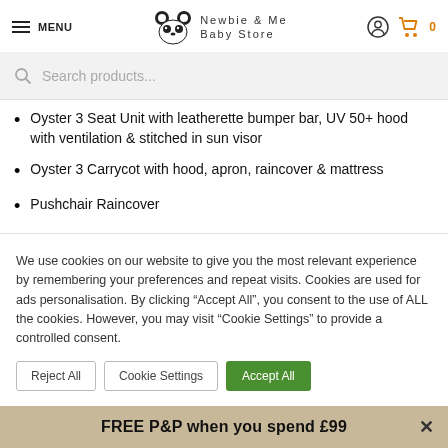MENU | Newbie & Me Baby Store | [account icon] [cart] 0
Search products...
Oyster 3 Seat Unit with leatherette bumper bar, UV 50+ hood with ventilation & stitched in sun visor
Oyster 3 Carrycot with hood, apron, raincover & mattress
Pushchair Raincover
We use cookies on our website to give you the most relevant experience by remembering your preferences and repeat visits. Cookies are used for ads personalisation. By clicking "Accept All", you consent to the use of ALL the cookies. However, you may visit "Cookie Settings" to provide a controlled consent.
FREE P&P when you spend £99